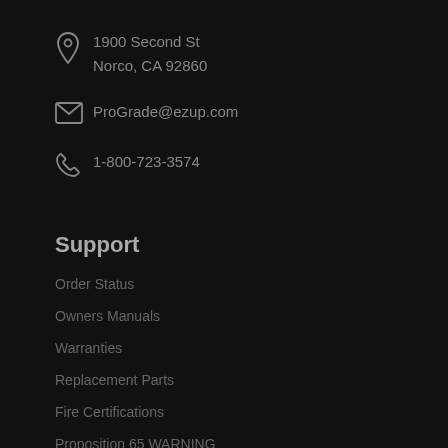1900 Second St
Norco, CA 92860
ProGrade@ezup.com
1-800-723-3574
Support
Order Status
Owners Manuals
Warranties
Replacement Parts
Fire Certifications
Proposition 65 WARNING